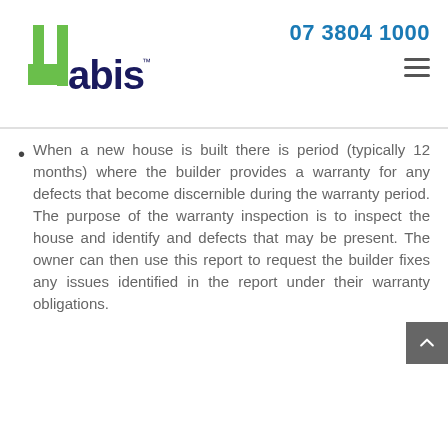[Figure (logo): 4abis company logo with green numeral 4 and dark navy blue 'abis' text with TM mark]
07 3804 1000
When a new house is built there is period (typically 12 months) where the builder provides a warranty for any defects that become discernible during the warranty period. The purpose of the warranty inspection is to inspect the house and identify and defects that may be present. The owner can then use this report to request the builder fixes any issues identified in the report under their warranty obligations.